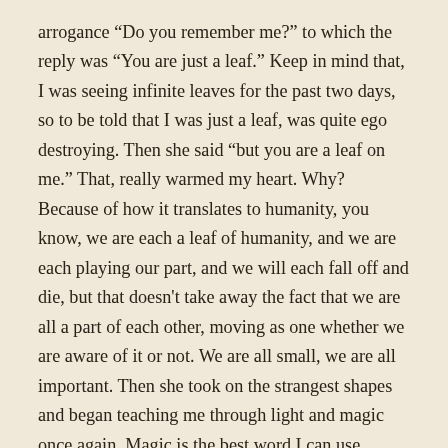arrogance “Do you remember me?” to which the reply was “You are just a leaf.” Keep in mind that, I was seeing infinite leaves for the past two days, so to be told that I was just a leaf, was quite ego destroying. Then she said “but you are a leaf on me.” That, really warmed my heart. Why? Because of how it translates to humanity, you know, we are each a leaf of humanity, and we are each playing our part, and we will each fall off and die, but that doesn't take away the fact that we are all a part of each other, moving as one whether we are aware of it or not. We are all small, we are all important. Then she took on the strangest shapes and began teaching me through light and magic once again. Magic is the best word I can use, because the visions also took on the effect of landscapes and scenery, or realms I have no other way of describing without using the words cosmically magical – I saw what the visionaries paint. So I said “that's beautiful, but I can't paint, please help me use the right words when sharing this experience with others.” Dear reader, did she answer my request effectively? Have you been moved by these words? Have they taken you to a part of yourself that has similar wounds? Magic